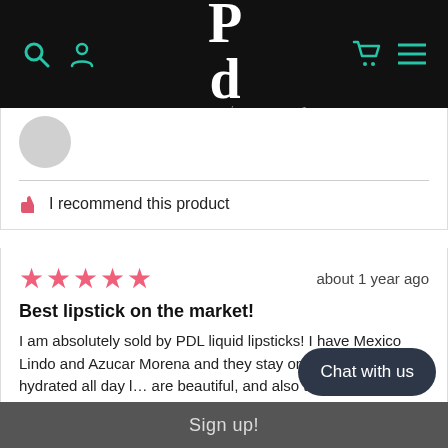BY PATRICIA DE LEON COSMETICS
[Figure (illustration): Circular avatar placeholder, grey]
I recommend this product
★★★★★  about 1 year ago
Best lipstick on the market!
I am absolutely sold by PDL liquid lipsticks! I have Mexico Lindo and Azucar Morena and they stay on and keep my lips hydrated all day l... are beautiful, and also the fact tha...
Chat with us
Sign up!